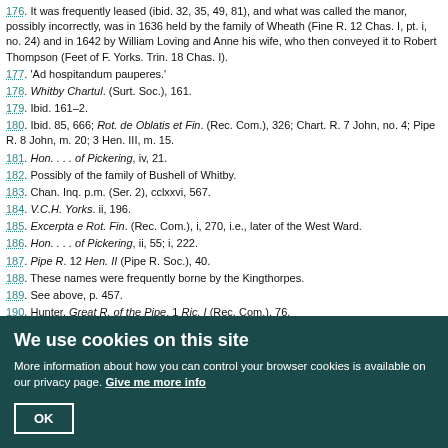176. It was frequently leased (ibid. 32, 35, 49, 81), and what was called the manor, possibly incorrectly, was in 1636 held by the family of Wheath (Fine R. 12 Chas. I, pt. i, no. 24) and in 1642 by William Loving and Anne his wife, who then conveyed it to Robert Thompson (Feet of F. Yorks. Trin. 18 Chas. I).
177. 'Ad hospitandum pauperes.'
178. Whitby Chartul. (Surt. Soc.), 161.
179. Ibid. 161–2.
180. Ibid. 85, 666; Rot. de Oblatis et Fin. (Rec. Com.), 326; Chart. R. 7 John, no. 4; Pipe R. 8 John, m. 20; 3 Hen. III, m. 15.
181. Hon. . . . of Pickering, iv, 21.
182. Possibly of the family of Bushell of Whitby.
183. Chan. Inq. p.m. (Ser. 2), cclxxvi, 567.
184. V.C.H. Yorks. ii, 196.
185. Excerpta e Rot. Fin. (Rec. Com.), i, 270, i.e., later of the West Ward.
186. Hon. . . . of Pickering, ii, 55; i, 222.
187. Pipe R. 12 Hen. II (Pipe R. Soc.), 40.
188. These names were frequently borne by the Kingthorpes.
189. See above, p. 457.
190. Hunter, Great R. of the Pipe, 1 Ric. I (Rec. Com.), 76.
191. Cur. Reg. R. (Rec. Com.), i, 56, 75.
192. Red Bk. of Exch. (Rolls Ser.), 467.
We use cookies on this site
More information about how you can control your browser cookies is available on our privacy page. Give me more info